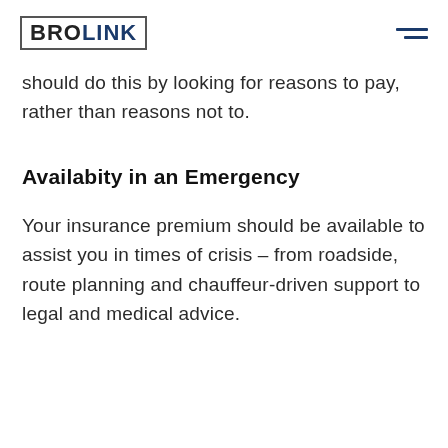BROLINK
should do this by looking for reasons to pay, rather than reasons not to.
Availabity in an Emergency
Your insurance premium should be available to assist you in times of crisis – from roadside, route planning and chauffeur-driven support to legal and medical advice.